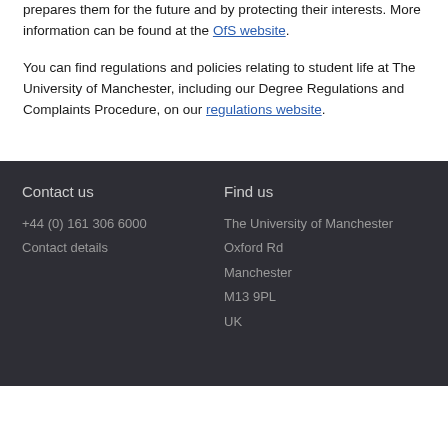prepares them for the future and by protecting their interests. More information can be found at the OfS website.
You can find regulations and policies relating to student life at The University of Manchester, including our Degree Regulations and Complaints Procedure, on our regulations website.
Contact us
+44 (0) 161 306 6000
Contact details

Find us
The University of Manchester
Oxford Rd
Manchester
M13 9PL
UK